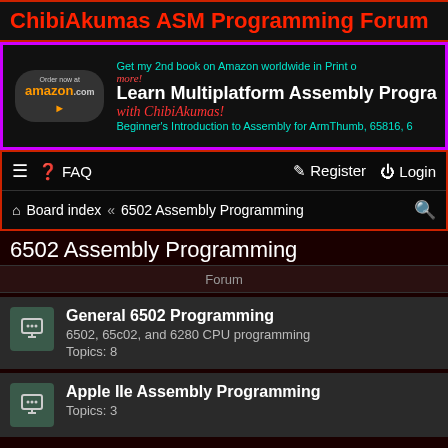ChibiAkumas ASM Programming Forum
[Figure (screenshot): Amazon advertisement banner for 'Learn Multiplatform Assembly Programming with ChibiAkumas' book. Includes Amazon logo, cyan and red text on dark background with magenta border.]
≡ ❓ FAQ  Register  Login | Board index < 6502 Assembly Programming 🔍
6502 Assembly Programming
Forum
General 6502 Programming
6502, 65c02, and 6280 CPU programming
Topics: 8
Apple IIe Assembly Programming
Topics: 3